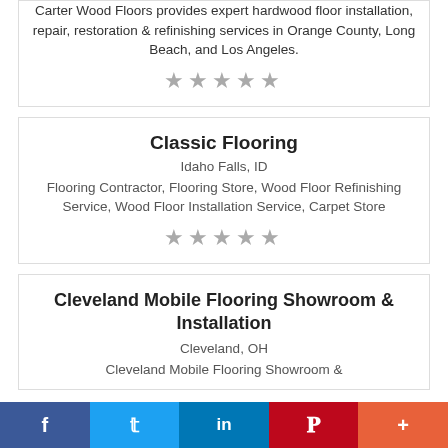Carter Wood Floors provides expert hardwood floor installation, repair, restoration & refinishing services in Orange County, Long Beach, and Los Angeles.
★★★★★
Classic Flooring
Idaho Falls, ID
Flooring Contractor, Flooring Store, Wood Floor Refinishing Service, Wood Floor Installation Service, Carpet Store
★★★★★
Cleveland Mobile Flooring Showroom & Installation
Cleveland, OH
Cleveland Mobile Flooring Showroom &